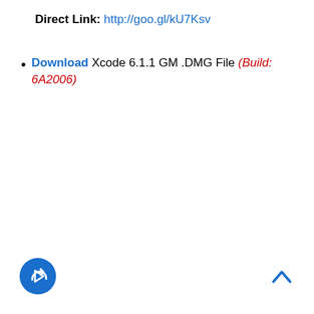Direct Link: http://goo.gl/kU7Ksv
Download Xcode 6.1.1 GM .DMG File (Build: 6A2006)